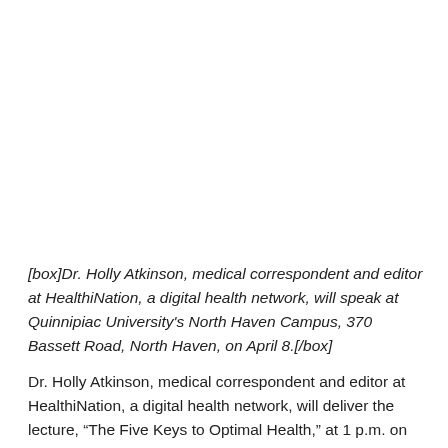[box]Dr. Holly Atkinson, medical correspondent and editor at HealthiNation, a digital health network, will speak at Quinnipiac University's North Haven Campus, 370 Bassett Road, North Haven, on April 8.[/box]
Dr. Holly Atkinson, medical correspondent and editor at HealthiNation, a digital health network, will deliver the lecture, "The Five Keys to Optimal Health," at 1 p.m. on Tuesday, April